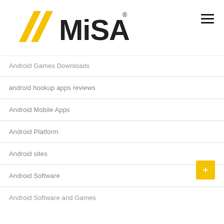[Figure (logo): MISA logo with yellow double-chevron/arrow mark on the left and bold black MISA text with registered trademark symbol]
Android Games Downloads
android hookup apps reviews
Android Mobile Apps
Android Platform
Android sites
Android Software
Android Software and Games